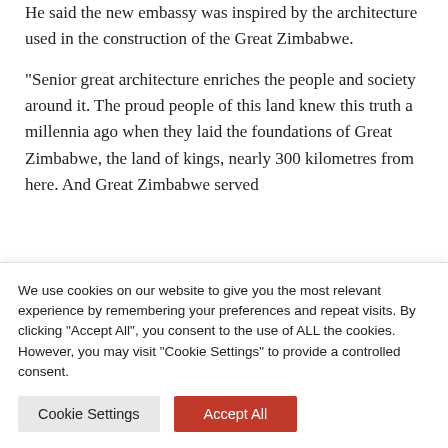He said the new embassy was inspired by the architecture used in the construction of the Great Zimbabwe.
“Senior great architecture enriches the people and society around it. The proud people of this land knew this truth a millennia ago when they laid the foundations of Great Zimbabwe, the land of kings, nearly 300 kilometres from here. And Great Zimbabwe served
We use cookies on our website to give you the most relevant experience by remembering your preferences and repeat visits. By clicking “Accept All”, you consent to the use of ALL the cookies. However, you may visit "Cookie Settings" to provide a controlled consent.